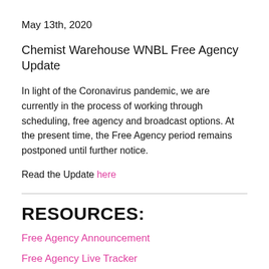May 13th, 2020
Chemist Warehouse WNBL Free Agency Update
In light of the Coronavirus pandemic, we are currently in the process of working through scheduling, free agency and broadcast options. At the present time, the Free Agency period remains postponed until further notice.
Read the Update here
RESOURCES:
Free Agency Announcement
Free Agency Live Tracker
Free Agency Team List